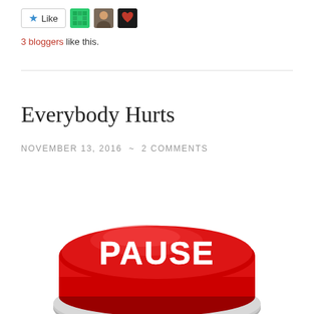[Figure (other): Like button with star icon and three blogger avatar thumbnails]
3 bloggers like this.
Everybody Hurts
NOVEMBER 13, 2016 ~ 2 COMMENTS
[Figure (photo): A large red 3D pause button with white bold text reading PAUSE, viewed from a slight angle showing the top and side of the button with a silver/grey base]